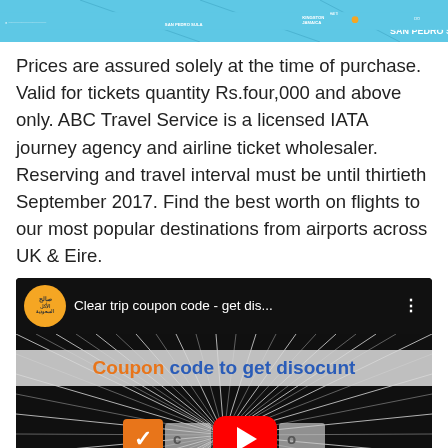[Figure (screenshot): Partial map screenshot showing SAN PEDRO SULA and KINGSTON JAMAICA labels on a travel map with a yellow/orange dot marker]
Prices are assured solely at the time of purchase. Valid for tickets quantity Rs.four,000 and above only. ABC Travel Service is a licensed IATA journey agency and airline ticket wholesaler. Reserving and travel interval must be until thirtieth September 2017. Find the best worth on flights to our most popular destinations from airports across UK & Eire.
[Figure (screenshot): YouTube video thumbnail for 'Clear trip coupon code - get dis...' showing a starburst radial pattern background with text 'Coupon code to get disocunt', a YouTube play button, and 'For your flight' at the bottom. Channel icon is an orange circle with Arabic text.]